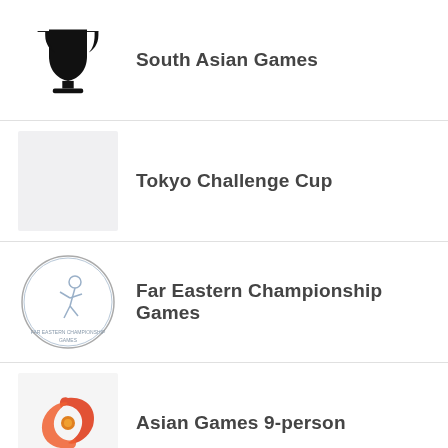South Asian Games
Tokyo Challenge Cup
Far Eastern Championship Games
Asian Games 9-person
East Asian Games